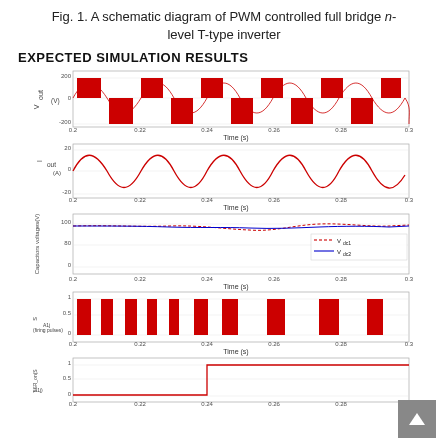Fig. 1. A schematic diagram of PWM controlled full bridge n-level T-type inverter
EXPECTED SIMULATION RESULTS
[Figure (continuous-plot): Five stacked time-domain simulation plots from 0.2s to 0.3s. Top: V_out (V) showing a PWM stepped sine wave between -200 and 200V (red filled). Second: I_out (A) showing a smooth sine wave between -20 and 20A (red). Third: Capacitor voltages (V) showing two signals near 100V — dashed red V_dc1 and solid blue V_dc2. Fourth: S_A1j (firing pulses) showing rectangular pulses between 0 and 1 (red). Fifth: TSR_on(S_A1j) showing a step function rising from 0 to 1 around t=0.245s (red).]
Time (s) axis labels: 0.2, 0.22, 0.24, 0.26, 0.28, 0.3